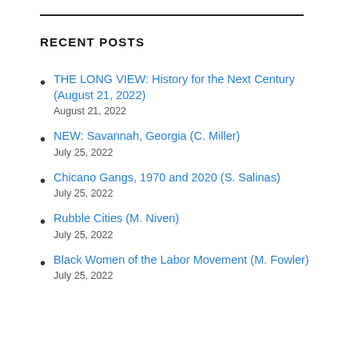RECENT POSTS
THE LONG VIEW: History for the Next Century (August 21, 2022)
August 21, 2022
NEW: Savannah, Georgia (C. Miller)
July 25, 2022
Chicano Gangs, 1970 and 2020 (S. Salinas)
July 25, 2022
Rubble Cities (M. Niven)
July 25, 2022
Black Women of the Labor Movement (M. Fowler)
July 25, 2022